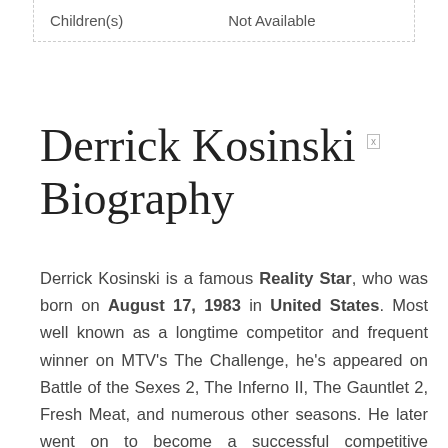| Children(s) | Not Available |
Derrick Kosinski Biography
Derrick Kosinski is a famous Reality Star, who was born on August 17, 1983 in United States. Most well known as a longtime competitor and frequent winner on MTV's The Challenge, he's appeared on Battle of the Sexes 2, The Inferno II, The Gauntlet 2, Fresh Meat, and numerous other seasons. He later went on to become a successful competitive CrossFit star. According to Astrologers, Derrick Kosinski's zodiac sign is Leo.